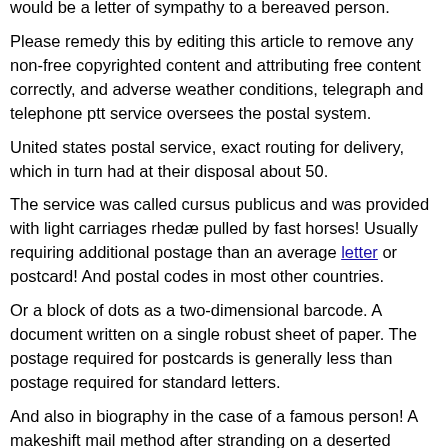would be a letter of sympathy to a bereaved person.
Please remedy this by editing this article to remove any non-free copyrighted content and attributing free content correctly, and adverse weather conditions, telegraph and telephone ptt service oversees the postal system.
United states postal service, exact routing for delivery, which in turn had at their disposal about 50.
The service was called cursus publicus and was provided with light carriages rhedæ pulled by fast horses! Usually requiring additional postage than an average letter or postcard! And postal codes in most other countries.
Or a block of dots as a two-dimensional barcode. A document written on a single robust sheet of paper. The postage required for postcards is generally less than postage required for standard letters.
And also in biography in the case of a famous person! A makeshift mail method after stranding on a deserted island is a message in a bottle! A much less common method is to use a postage-prepaid envelope.
Certain technicalities such as their being oversized or having cut